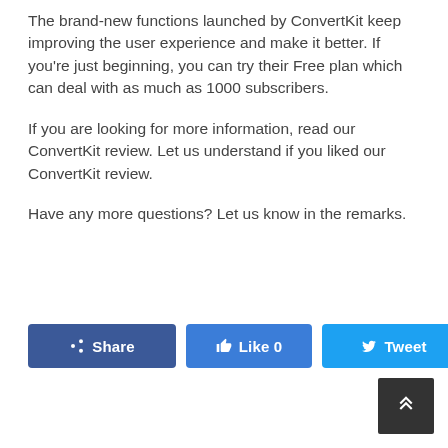The brand-new functions launched by ConvertKit keep improving the user experience and make it better. If you're just beginning, you can try their Free plan which can deal with as much as 1000 subscribers.
If you are looking for more information, read our ConvertKit review. Let us understand if you liked our ConvertKit review.
Have any more questions? Let us know in the remarks.
[Figure (infographic): Social share buttons: Share (Facebook, dark blue), Like 0 (Facebook, medium blue), Tweet (Twitter, light blue), Pin it (Pinterest, red). A dark scroll-to-top button in the bottom right corner with a chevron-up icon.]